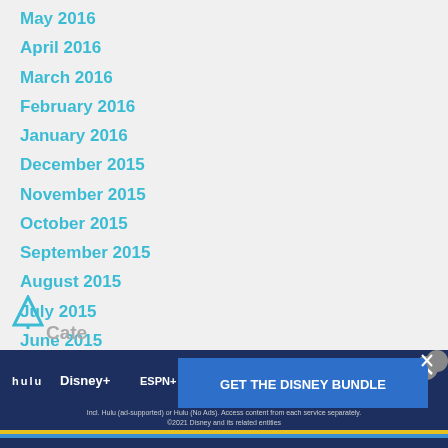May 2016
April 2016
March 2016
February 2016
January 2016
December 2015
November 2015
October 2015
September 2015
August 2015
July 2015
June 2015
[Figure (screenshot): Disney Bundle advertisement banner showing Hulu, Disney+, and ESPN+ logos with 'GET THE DISNEY BUNDLE' call-to-action button and fine print text]
Cate...